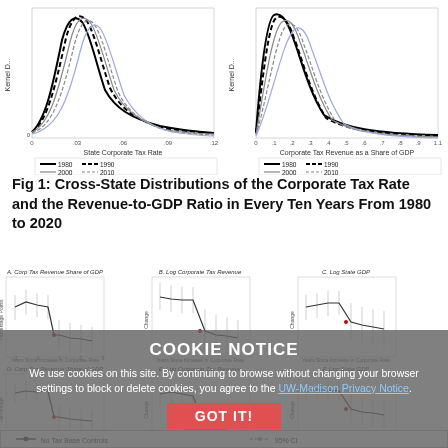[Figure (continuous-plot): Left top: Kernel density plot of State Corporate Tax Rate for years 1980, 1990, 2000, 2010, 2020. X-axis: State Corporate Tax Rate (0 to .12). Y-axis: Kernel D. Multiple overlapping curves.]
[Figure (continuous-plot): Right top: Kernel density plot of Corporate Tax Revenue as a Share of GDP for years 1980, 1990, 2000, 2010, 2020. X-axis: 0 to 1.1. Y-axis: Kernel D.]
Fig 1: Cross-State Distributions of the Corporate Tax Rate and the Revenue-to-GDP Ratio in Every Ten Years From 1980 to 2020
[Figure (continuous-plot): Six event-study panels (A-F) showing point estimates and 95% CI for Corp Tax Revenue Share of GDP, Log Corporate Tax Revenue, Log State GDP (top row D, E, F bottom row). X-axis: Years Since Increase in Corporate Rate. Overlaid with cookie notice banner.]
COOKIE NOTICE
We use cookies on this site. By continuing to browse without changing your browser settings to block or delete cookies, you agree to the UW-Madison Privacy Notice.
GOT IT!
No Tax Base Controls          95% CI